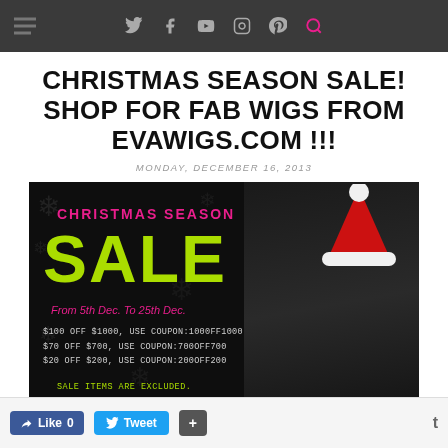Navigation bar with social icons: Twitter, Facebook, YouTube, Instagram, Pinterest, Search
CHRISTMAS SEASON SALE! SHOP FOR FAB WIGS FROM EVAWIGS.COM !!!
MONDAY, DECEMBER 16, 2013
[Figure (photo): Christmas Season Sale banner ad for evawigs.com featuring a woman in a Santa hat with text: CHRISTMAS SEASON SALE, From 5th Dec. To 25th Dec., $100 OFF $1000, USE COUPON:1000FF1000, $70 OFF $700, USE COUPON:700OFF700, $20 OFF $200, USE COUPON:200OFF200, SALE ITEMS ARE EXCLUDED., BUY NOW]
Like 0  Tweet  +  t